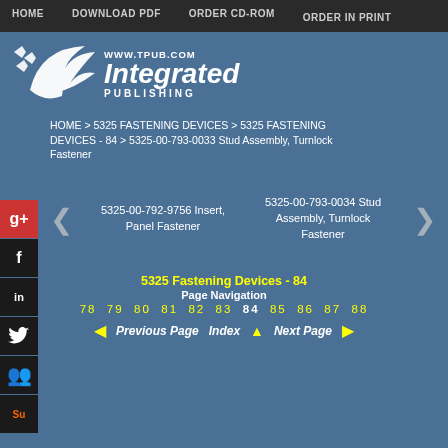HOME   DOWNLOAD PDF   ORDER CD-ROM   ORDER IN PRINT
[Figure (logo): Integrated Publishing logo with bird/arrow graphic and www.tpub.com URL]
HOME > 5325 FASTENING DEVICES > 5325 FASTENING DEVICES - 84 > 5325-00-793-0033 Stud Assembly, Turnlock Fastener
5325-00-792-9756 Insert, Panel Fastener
5325-00-793-0034 Stud Assembly, Turnlock Fastener
5325 Fastening Devices - 84
Page Navigation
78 79 80 81 82 83 84 85 86 87 88
Previous Page   Index   Next Page